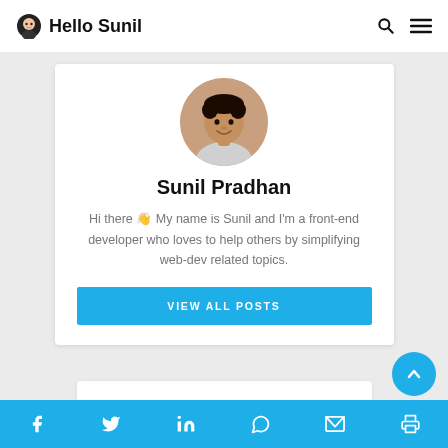Hello Sunil
[Figure (photo): Circular profile photo of Sunil Pradhan, a young man smiling]
Sunil Pradhan
Hi there 👋 My name is Sunil and I'm a front-end developer who loves to help others by simplifying web-dev related topics.
VIEW ALL POSTS
Social share icons: Facebook, Twitter, LinkedIn, WhatsApp, Email, Print